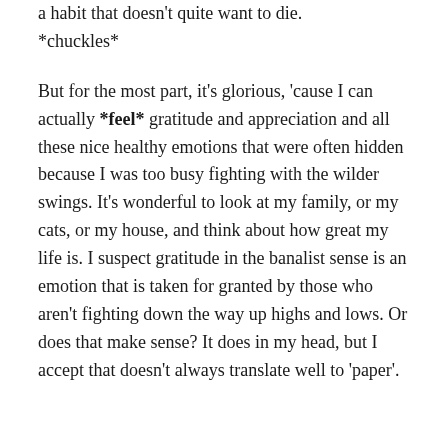a habit that doesn't quite want to die. *chuckles*
But for the most part, it's glorious, 'cause I can actually *feel* gratitude and appreciation and all these nice healthy emotions that were often hidden because I was too busy fighting with the wilder swings. It's wonderful to look at my family, or my cats, or my house, and think about how great my life is. I suspect gratitude in the banalist sense is an emotion that is taken for granted by those who aren't fighting down the way up highs and lows. Or does that make sense? It does in my head, but I accept that doesn't always translate well to 'paper'.